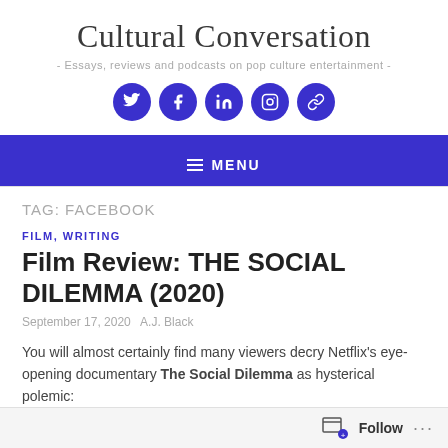Cultural Conversation
- Essays, reviews and podcasts on pop culture entertainment -
[Figure (other): Five social media icon circles (Twitter, Facebook, LinkedIn, Instagram, Link) in dark blue/indigo]
MENU
TAG: FACEBOOK
FILM, WRITING
Film Review: THE SOCIAL DILEMMA (2020)
September 17, 2020   A.J. Black
You will almost certainly find many viewers decry Netflix's eye-opening documentary The Social Dilemma as hysterical polemic:
Follow